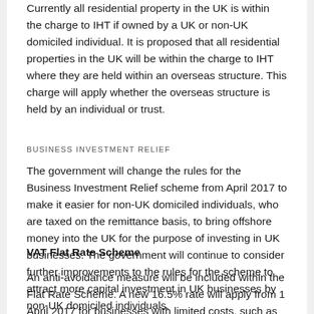Currently all residential property in the UK is within the charge to IHT if owned by a UK or non-UK domiciled individual. It is proposed that all residential properties in the UK will be within the charge to IHT where they are held within an overseas structure. This charge will apply whether the overseas structure is held by an individual or trust.
BUSINESS INVESTMENT RELIEF
The government will change the rules for the Business Investment Relief scheme from April 2017 to make it easier for non-UK domiciled individuals, who are taxed on the remittance basis, to bring offshore money into the UK for the purpose of investing in UK businesses. The government will continue to consider further improvements to the rules for the scheme to attract more capital investment in UK businesses by non-UK domiciled individuals.
VAT Flat Rate Scheme
An anti-avoidance measure will be included within the Flat Rate Scheme. A new 16.5% rate will apply from 1 April 2017 for businesses with limited costs, such as many labour-only